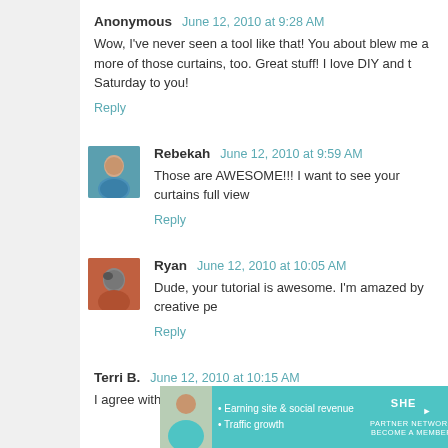Anonymous   June 12, 2010 at 9:28 AM
Wow, I've never seen a tool like that! You about blew me a more of those curtains, too. Great stuff! I love DIY and t Saturday to you!
Reply
Rebekah   June 12, 2010 at 9:59 AM
Those are AWESOME!!! I want to see your curtains full view
Reply
Ryan   June 12, 2010 at 10:05 AM
Dude, your tutorial is awesome. I'm amazed by creative pe
Reply
Terri B.   June 12, 2010 at 10:15 AM
I agree with the "you do what makes you happy and
[Figure (infographic): SHE Partner Network advertisement banner with woman photo, bullet points for 'Earning site & social revenue' and 'Traffic growth', SHE logo, and 'LEARN MORE' button]